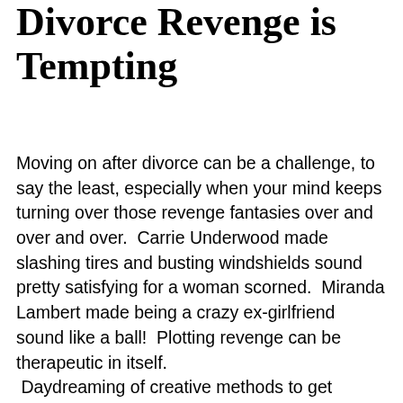Divorce Revenge is Tempting
Moving on after divorce can be a challenge, to say the least, especially when your mind keeps turning over those revenge fantasies over and over and over.  Carrie Underwood made slashing tires and busting windshields sound pretty satisfying for a woman scorned.  Miranda Lambert made being a crazy ex-girlfriend sound like a ball!  Plotting revenge can be therapeutic in itself.  Daydreaming of creative methods to get retribution might be pretty fun and help you get some closure, but it can quickly become self-destructive and make you feel even worse.  Before you retaliate with a baseball bat to his ugly old Chevy, take a look at some other ways to feel better.